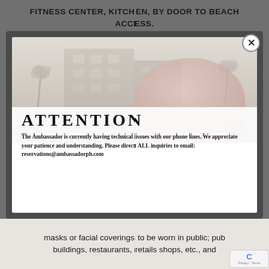FITNESS CENTER, KITCHEN, BY DOOR TO BEACH ACCESS.
[Figure (screenshot): A modal popup overlay on a website showing an attention notice for The Ambassador hotel. Background image shows a hotel building with palm trees (faded/washed out). The modal contains bold text 'ATTENTION' and a message about technical phone line issues directing inquiries to reservations@ambassadorph.com. A circular X close button appears in the top right corner of the modal.]
masks or facial coverings to be worn in public; pub buildings, restaurants, retails shops, etc., and